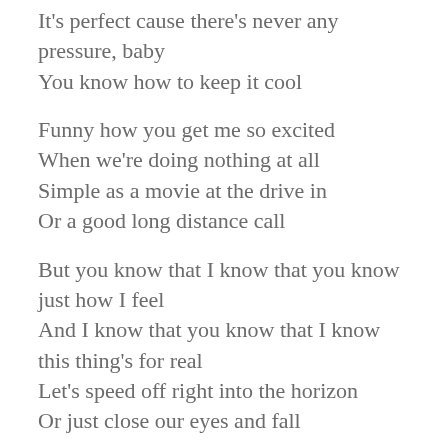It's perfect cause there's never any pressure, baby
You know how to keep it cool
Funny how you get me so excited
When we're doing nothing at all
Simple as a movie at the drive in
Or a good long distance call
But you know that I know that you know just how I feel
And I know that you know that I know this thing's for real
Let's speed off right into the horizon
Or just close our eyes and fall